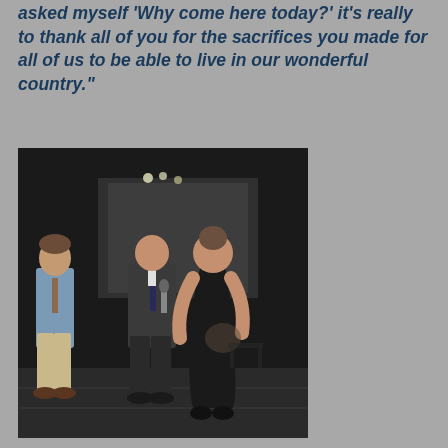asked myself 'Why come here today?' it's really to thank all of you for the sacrifices you made for all of us to be able to live in our wonderful country."
[Figure (photo): Three people standing indoors on a dark floor. On the left, a man in a light blue shirt and tan pants. In the center, an older man in a dark suit holding a microphone. On the right, a woman in a black dress with her back to the camera. The background shows a dimly lit auditorium or event hall with chairs.]